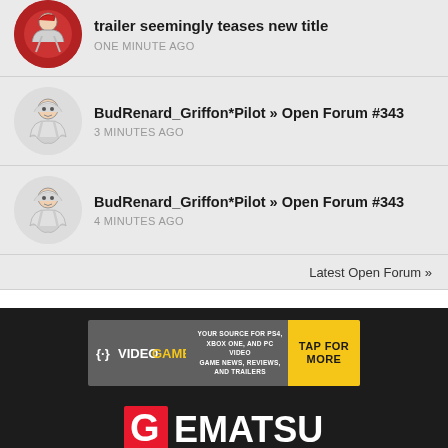trailer seemingly teases new title — ONE MINUTE AGO
BudRenard_Griffon*Pilot » Open Forum #343 — 3 MINUTES AGO
BudRenard_Griffon*Pilot » Open Forum #343 — 4 MINUTES AGO
Latest Open Forum »
[Figure (screenshot): VideoGamer advertisement banner: YOUR SOURCE FOR PS4, XBOX ONE, AND PC VIDEO GAME NEWS, REVIEWS, AND TRAILERS — TAP FOR MORE]
[Figure (logo): Gematsu logo in white text with red G on black background]